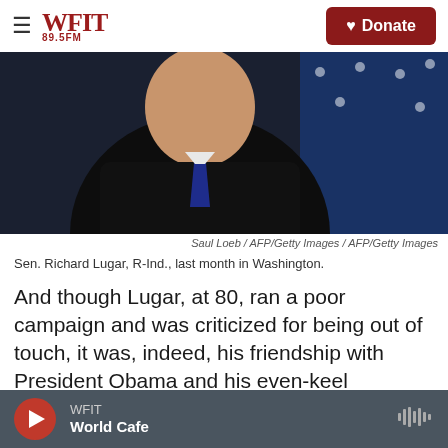WFIT 89.5FM — Donate
[Figure (photo): Close-up of Sen. Richard Lugar in dark suit with American flag in background]
Saul Loeb / AFP/Getty Images / AFP/Getty Images
Sen. Richard Lugar, R-Ind., last month in Washington.
And though Lugar, at 80, ran a poor campaign and was criticized for being out of touch, it was, indeed, his friendship with President Obama and his even-keel statesmanship that did him in. He had won re-election in 2006 with 87 percent of the vote.
The low-key Lugar's departure leaves the Senate
WFIT — World Cafe